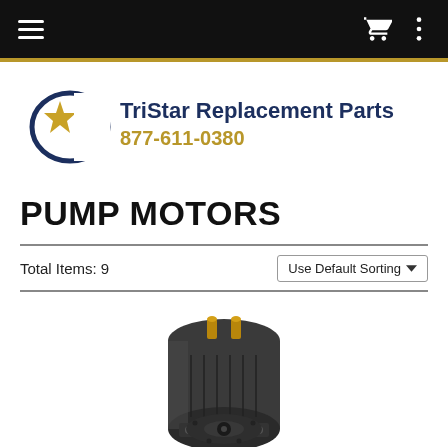Navigation bar with hamburger menu, cart icon, and options icon
[Figure (logo): TriStar Replacement Parts logo with gold star, blue arc, company name 'TriStar Replacement Parts' and phone number '877-611-0380']
PUMP MOTORS
Total Items: 9
Use Default Sorting
[Figure (photo): Photograph of a cylindrical black pump motor with gold connector terminals on top]